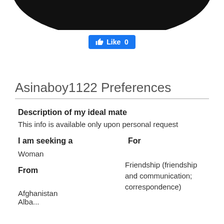[Figure (photo): Partial silhouette of a profile photo, cropped at top, showing dark shape against white background]
[Figure (screenshot): Facebook-style Like button showing thumbs up icon and 'Like 0' in white text on blue background]
Asinaboy1122 Preferences
Description of my ideal mate
This info is available only upon personal request
I am seeking a
Woman
For
Friendship (friendship and communication; correspondence)
From
Afghanistan
Alba...